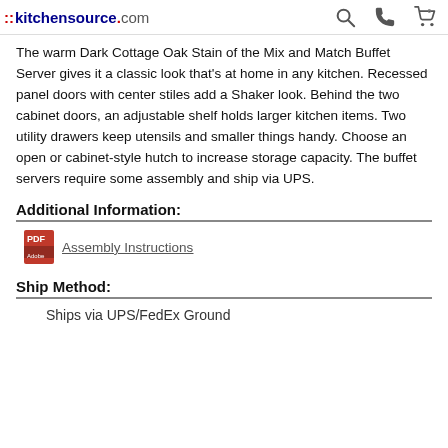::kitchensource.com
The warm Dark Cottage Oak Stain of the Mix and Match Buffet Server gives it a classic look that's at home in any kitchen. Recessed panel doors with center stiles add a Shaker look. Behind the two cabinet doors, an adjustable shelf holds larger kitchen items. Two utility drawers keep utensils and smaller things handy. Choose an open or cabinet-style hutch to increase storage capacity. The buffet servers require some assembly and ship via UPS.
Additional Information:
Assembly Instructions
Ship Method:
Ships via UPS/FedEx Ground